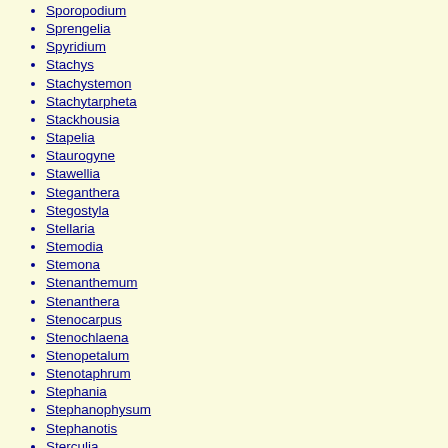Sporopodium
Sprengelia
Spyridium
Stachys
Stachystemon
Stachytarpheta
Stackhousia
Stapelia
Staurogyne
Stawellia
Steganthera
Stegostyla
Stellaria
Stemodia
Stemona
Stenanthemum
Stenanthera
Stenocarpus
Stenochlaena
Stenopetalum
Stenotaphrum
Stephania
Stephanophysum
Stephanotis
Sterculia
Stereocaulon
Stereum
Sticherus
Sticta
Stictocardia
Still...